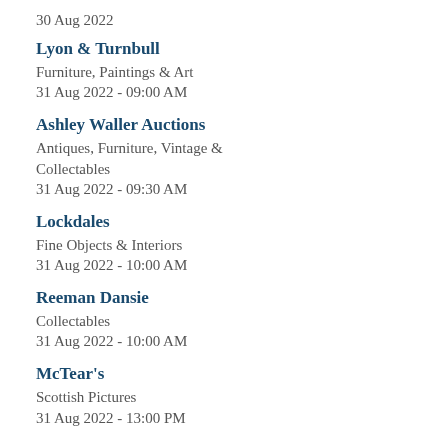30 Aug 2022
Lyon & Turnbull
Furniture, Paintings & Art
31 Aug 2022 - 09:00 AM
Ashley Waller Auctions
Antiques, Furniture, Vintage & Collectables
31 Aug 2022 - 09:30 AM
Lockdales
Fine Objects & Interiors
31 Aug 2022 - 10:00 AM
Reeman Dansie
Collectables
31 Aug 2022 - 10:00 AM
McTear's
Scottish Pictures
31 Aug 2022 - 13:00 PM